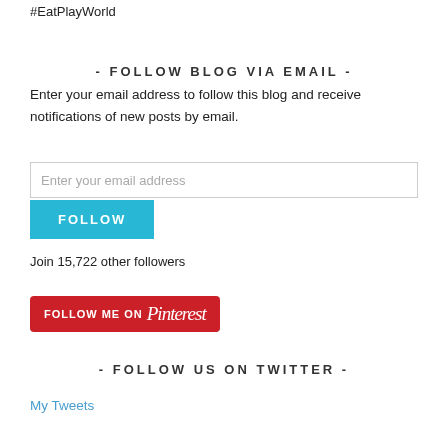with a focus on culture, education, history and delicious food. #EatPlayWorld
- FOLLOW BLOG VIA EMAIL -
Enter your email address to follow this blog and receive notifications of new posts by email.
Enter your email address
FOLLOW
Join 15,722 other followers
[Figure (other): Follow Me on Pinterest button — red rounded rectangle with white text reading FOLLOW ME ON Pinterest]
- FOLLOW US ON TWITTER -
My Tweets